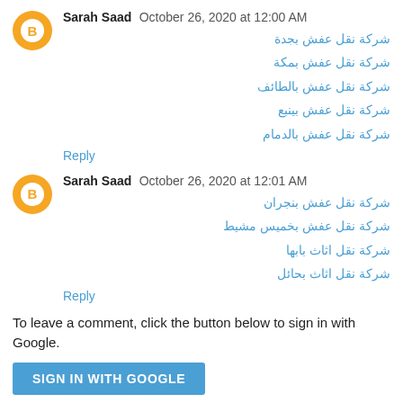Sarah Saad  October 26, 2020 at 12:00 AM
شركة نقل عفش بجدة
شركة نقل عفش بمكة
شركة نقل عفش بالطائف
شركة نقل عفش بينبع
شركة نقل عفش بالدمام
Reply
Sarah Saad  October 26, 2020 at 12:01 AM
شركة نقل عفش بنجران
شركة نقل عفش بخميس مشيط
شركة نقل اثاث بابها
شركة نقل اثاث بحائل
Reply
To leave a comment, click the button below to sign in with Google.
SIGN IN WITH GOOGLE